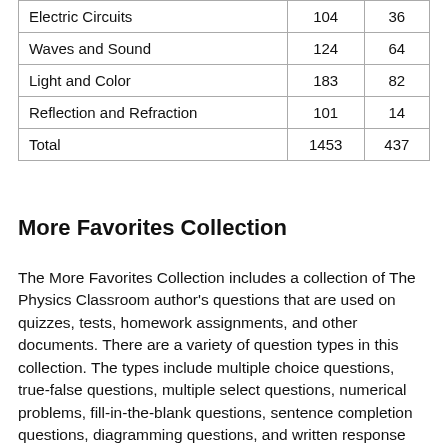| Electric Circuits | 104 | 36 |
| Waves and Sound | 124 | 64 |
| Light and Color | 183 | 82 |
| Reflection and Refraction | 101 | 14 |
| Total | 1453 | 437 |
More Favorites Collection
The More Favorites Collection includes a collection of The Physics Classroom author's questions that are used on quizzes, tests, homework assignments, and other documents. There are a variety of question types in this collection. The types include multiple choice questions, true-false questions, multiple select questions, numerical problems, fill-in-the-blank questions, sentence completion questions, diagramming questions, and written response questions. The majority of questions are true-false, multiple choice, and multiple select style questions.